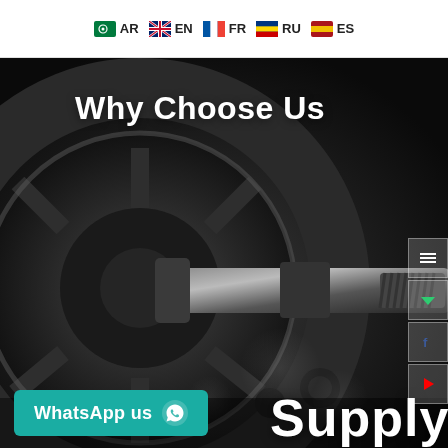AR  EN  FR  RU  ES
[Figure (photo): Dark close-up photo of industrial mechanical parts — a wheel hub and axle/bolt, machined metal components, dark background with bokeh lighting]
Why Choose Us
Supply
WhatsApp us